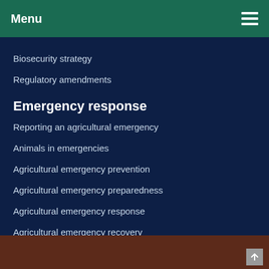Menu
Biosecurity strategy
Regulatory amendments
Emergency response
Reporting an agricultural emergency
Animals in emergencies
Agricultural emergency prevention
Agricultural emergency preparedness
Agricultural emergency response
Agricultural emergency recovery